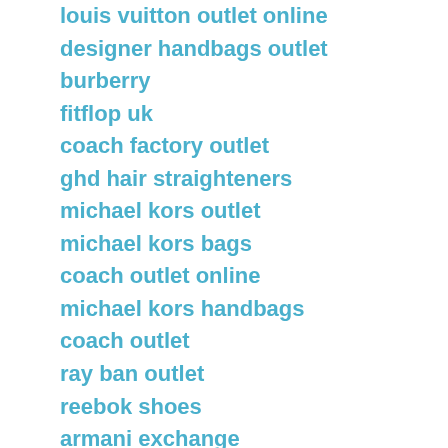louis vuitton outlet online
designer handbags outlet
burberry
fitflop uk
coach factory outlet
ghd hair straighteners
michael kors outlet
michael kors bags
coach outlet online
michael kors handbags
coach outlet
ray ban outlet
reebok shoes
armani exchange
michael kors bags
louis vuitton borse
timberland boots
adidas trainers
ralph lauren outlet
coach outlet
converse shoes
burberry outlet
michael kors outlet